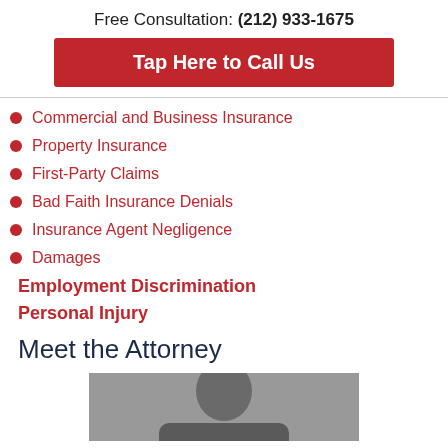Free Consultation: (212) 933-1675
Tap Here to Call Us
Commercial and Business Insurance
Property Insurance
First-Party Claims
Bad Faith Insurance Denials
Insurance Agent Negligence
Damages
Employment Discrimination
Personal Injury
Meet the Attorney
[Figure (photo): Attorney headshot photo, partially visible, gray background]